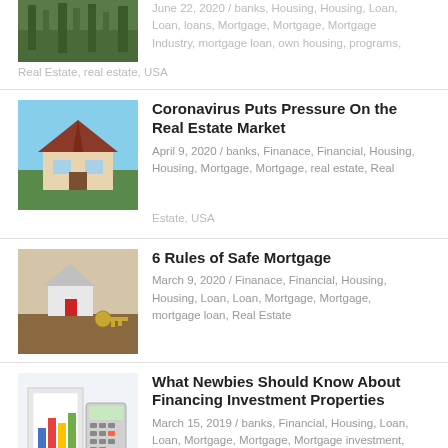[Figure (photo): Partial photo of grass/nature at top left]
June 22, 2020 / banks, Housing, Housing, Loan, Loan, loans, Mortgage, Mortgage, Mortgage Industry, mortgage loan, own housing, programs, Real Estate, real estate, USA
[Figure (photo): Photo of a modern house with blue sky]
Coronavirus Puts Pressure On the Real Estate Market
April 9, 2020 / banks, Finanace, Financial, Housing, Housing, Mortgage, Mortgage, real estate, Real Estate, USA
[Figure (photo): Photo of a small model house with keys on a table]
6 Rules of Safe Mortgage
March 9, 2020 / Finanace, Financial, Housing, Housing, Loan, Loan, Mortgage, Mortgage, mortgage loan, Real Estate
[Figure (photo): Illustration of a person with calculator and charts]
What Newbies Should Know About Financing Investment Properties
March 15, 2019 / banks, Financial, Housing, Loan, Loan, Mortgage, Mortgage, Mortgage investment,